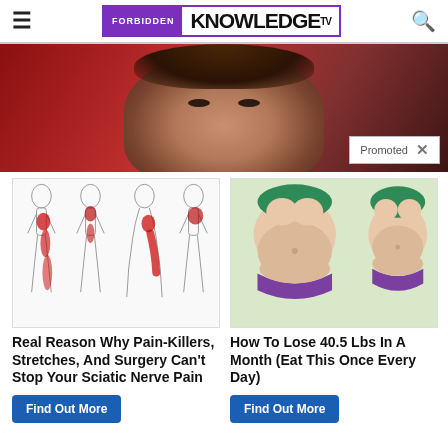FORBIDDEN KNOWLEDGE TV
[Figure (photo): Close-up photo of a man's face looking upward, dark reddish background, with a 'Promoted X' badge in the bottom right corner]
[Figure (illustration): Medical illustration showing four human body silhouettes with red highlighted sciatic nerve pain areas along the leg and lower back]
Real Reason Why Pain-Killers, Stretches, And Surgery Can't Stop Your Sciatic Nerve Pain
Find Out More
[Figure (illustration): Cartoon/illustration showing two female torsos in purple bikinis before and after weight loss comparison]
How To Lose 40.5 Lbs In A Month (Eat This Once Every Day)
Find Out More